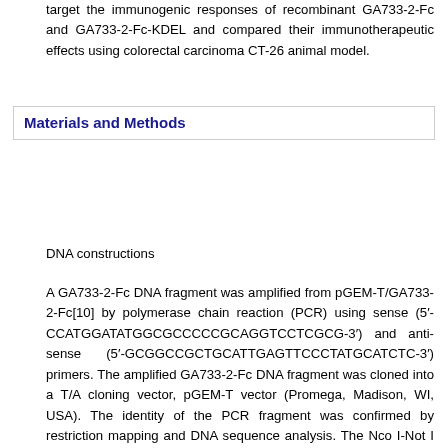target the immunogenic responses of recombinant GA733-2-Fc and GA733-2-Fc-KDEL and compared their immunotherapeutic effects using colorectal carcinoma CT-26 animal model.
Materials and Methods
DNA constructions
A GA733-2-Fc DNA fragment was amplified from pGEM-T/GA733-2-Fc[10] by polymerase chain reaction (PCR) using sense (5′-CCATGGATATGGCGCCCCCGCAGGTCCTCGCG-3′) and anti-sense (5′-GCGGCCGCTGCATTGAGTTCCCTATGCATCTC-3′) primers. The amplified GA733-2-Fc DNA fragment was cloned into a T/A cloning vector, pGEM-T vector (Promega, Madison, WI, USA). The identity of the PCR fragment was confirmed by restriction mapping and DNA sequence analysis. The Nco I-Not I fragment (GA733-2-Fc) of pGEM-T/GA733-2-Fc was inserted between the Nco I and Not I sites of ImpactVector1.3-tag (Plant Research International, Wageningen, The Netherlands) comprising the RbcS1 promoter, signal sequence, C-terminal tags (c-myc and His6), and the ER retention signal KDEL. The GA733-2-Fc DNA fragment containing the N-terminal signal sequence and the C-terminal c-myc-His tag was amplified from ImpactVector1.3-tag/GA733-2-Fc-KDEL by PCR using sense (5′-GATATCATGTCTCTTAGCCAGAACCAGGCCAAG-3′) and anti-sense (5′-ACTAGTTTAGTGATGGTGATGGTGATGA AGATC-3′) primers. The GA733-2-Fc-KDEL DNA fragment containing N-terminal signal